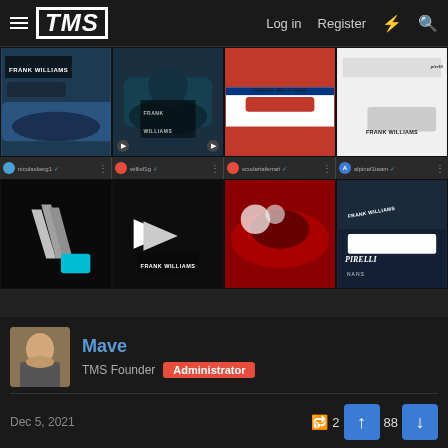TMS  Log in  Register
[Figure (screenshot): Social media grid of 8 F1 car photos showing 'Frank Williams' livery tributes from various teams, arranged in 2 rows of 4]
Mave
TMS Founder  Administrator
Dec 5, 2021
Jos' (Max' dad) reaction to the crash